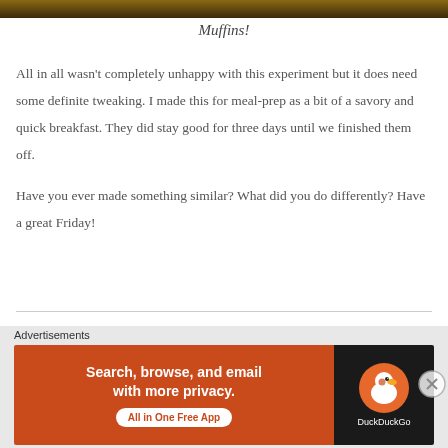[Figure (photo): Top portion of a food photo showing muffins, cropped at the top of the page]
Muffins!
All in all wasn't completely unhappy with this experiment but it does need some definite tweaking. I made this for meal-prep as a bit of a savory and quick breakfast. They did stay good for three days until we finished them off.
Have you ever made something similar? What did you do differently? Have a great Friday!
Advertisements
[Figure (screenshot): DuckDuckGo advertisement banner: orange left panel with text 'Search, browse, and email with more privacy. All in One Free App' and dark right panel with DuckDuckGo duck logo]